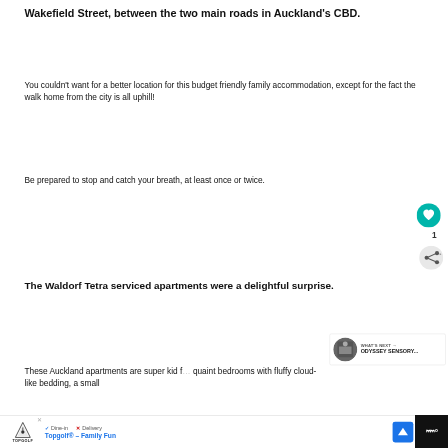Wakefield Street, between the two main roads in Auckland's CBD.
You couldn't want for a better location for this budget friendly family accommodation, except for the fact the walk home from the city is all uphill!
Be prepared to stop and catch your breath, at least once or twice.
The Waldorf Tetra serviced apartments were a delightful surprise.
These Auckland apartments are super kid f… quaint bedrooms with fluffy cloud-like bedding, a small ki…
[Figure (other): What's Next widget with thumbnail image and text: ODYSSEY SENSORY...]
[Figure (other): Advertisement bar: Topgolf - Family Fun with Dine-in checkmark and Delivery cross, navigation arrow, and dark panel with WW logo]